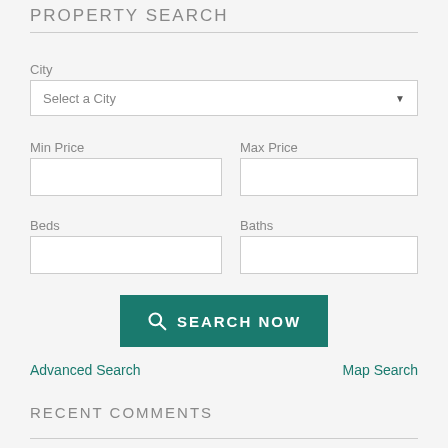PROPERTY SEARCH
City
Select a City
Min Price
Max Price
Beds
Baths
SEARCH NOW
Advanced Search
Map Search
RECENT COMMENTS